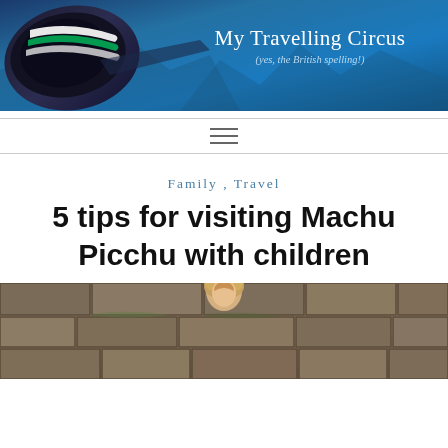[Figure (photo): Blog header banner for 'My Travelling Circus' showing a blue background with an airplane engine on the left and white text on the right reading 'My Travelling Circus (yes, the British spelling!)']
≡
Family , Travel
5 tips for visiting Machu Picchu with children
[Figure (photo): Bottom portion of a photo showing a child at Machu Picchu stone ruins]